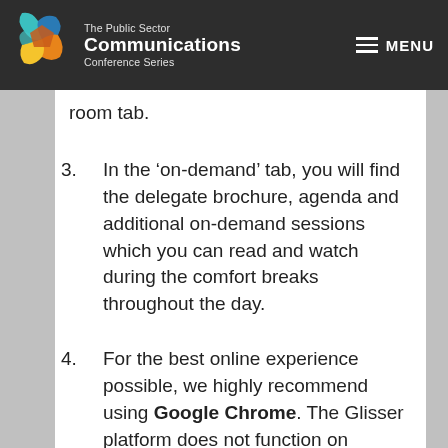The Public Sector Communications Conference Series — MENU
room tab.
3. In the ‘on-demand’ tab, you will find the delegate brochure, agenda and additional on-demand sessions which you can read and watch during the comfort breaks throughout the day.
4. For the best online experience possible, we highly recommend using Google Chrome. The Glisser platform does not function on Internet Explorer.